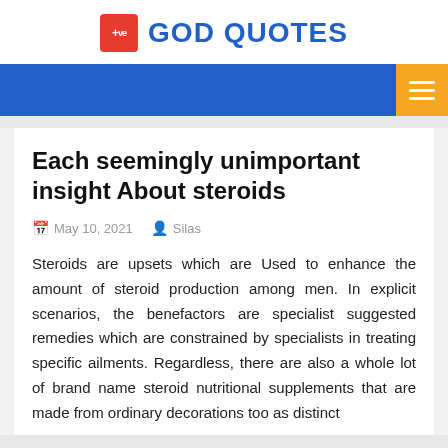God Quotes
Each seemingly unimportant insight About steroids
May 10, 2021   Silas
Steroids are upsets which are Used to enhance the amount of steroid production among men. In explicit scenarios, the benefactors are specialist suggested remedies which are constrained by specialists in treating specific ailments. Regardless, there are also a whole lot of brand name steroid nutritional supplements that are made from ordinary decorations too as distinct